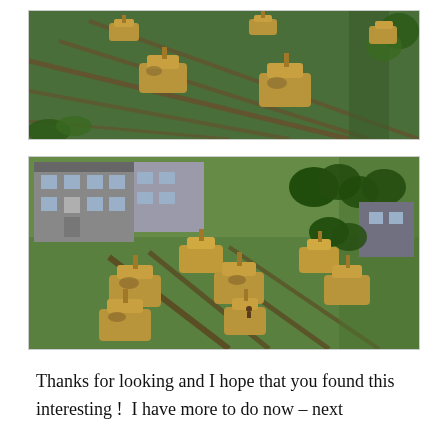[Figure (photo): Aerial view of a tabletop wargame showing multiple tan/desert-colored tank miniatures (Panzer-style) arranged on a green field terrain board with brown furrow tracks and green foliage at the edges.]
[Figure (photo): Tabletop wargame scene showing nine tan/desert-colored tank miniatures arranged on a green field with brown furrow tracks. A grey building model is visible at the top left, trees on the right, and another building at the top right.]
Thanks for looking and I hope that you found this interesting !  I have more to do now – next